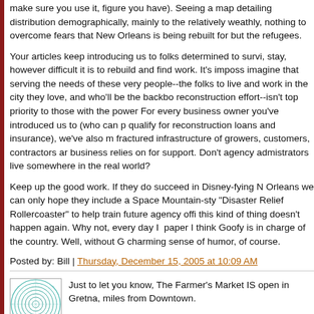make sure you use it, figure you have). Seeing a map detailing distribution demographically, mainly to the relatively weathly, nothing to overcome fears that New Orleans is being rebuilt for but the refugees.
Your articles keep introducing us to folks determined to survive, stay, however difficult it is to rebuild and find work. It's impossible to imagine that serving the needs of these very people--the folks determined to live and work in the city they love, and who'll be the backbone of the reconstruction effort--isn't top priority to those with the power to make it so. For every business owner you've introduced us to (who can perhaps qualify for reconstruction loans and insurance), we've also met the fractured infrastructure of growers, customers, contractors and workers that business relies on for support. Don't agency administrators live somewhere in the real world?
Keep up the good work. If they do succeed in Disney-fying New Orleans we can only hope they include a Space Mountain-style "Disaster Relief Rollercoaster" to help train future agency officials this kind of thing doesn't happen again. Why not, every day I read the paper I think Goofy is in charge of the country. Well, without Goofy's charming sense of humor, of course.
Posted by: Bill | Thursday, December 15, 2005 at 10:09 AM
[Figure (illustration): Small square avatar image with teal/green radial pattern on white background]
Just to let you know, The Farmer's Market IS open in Gretna, miles from Downtown.